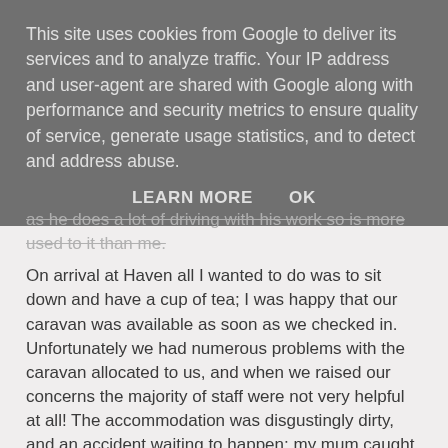This site uses cookies from Google to deliver its services and to analyze traffic. Your IP address and user-agent are shared with Google along with performance and security metrics to ensure quality of service, generate usage statistics, and to detect and address abuse.
LEARN MORE   OK
as he does a lot of driving with his work so is more used to it than me.
On arrival at Haven all I wanted to do was to sit down and have a cup of tea; I was happy that our caravan was available as soon as we checked in. Unfortunately we had numerous problems with the caravan allocated to us, and when we raised our concerns the majority of staff were not very helpful at all! The accommodation was disgustingly dirty, and an accident waiting to happen; my mum caught her foot on one of the metal strips between the laminate floor and carpet, I was really not happy that nails were exposed, Ruby or Lottie could have easily have hurt themselves and this is totally unacceptable.